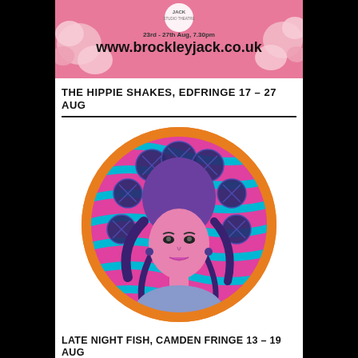[Figure (photo): Pink banner advertisement for Brockley Jack Studio Theatre showing dates 23rd-27th Aug, 7.30pm and website www.brockleyjack.co.uk with flower decorations]
THE HIPPIE SHAKES, EDFRINGE 17 – 27 AUG
[Figure (illustration): Circular psychedelic illustration with an orange border featuring a woman with purple hair against a wavy pink and teal background with dark blue circle orbs surrounding her]
LATE NIGHT FISH, CAMDEN FRINGE 13 – 19 AUG